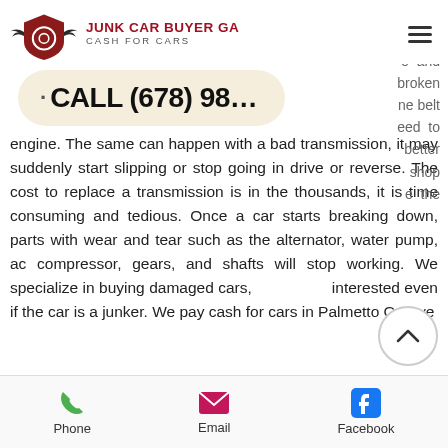JUNK CAR BUYER GA — CASH FOR CARS
e and broken ne belt eed to better shop e the
CALL (678) 98...
engine. The same can happen with a bad transmission, it may suddenly start slipping or stop going in drive or reverse. The cost to replace a transmission is in the thousands, it is time consuming and tedious. Once a car starts breaking down, parts with wear and tear such as the alternator, water pump, ac compressor, gears, and shafts will stop working. We specialize in buying damaged cars, interested even if the car is a junker. We pay cash for cars in Palmetto GA, we
Phone  Email  Facebook